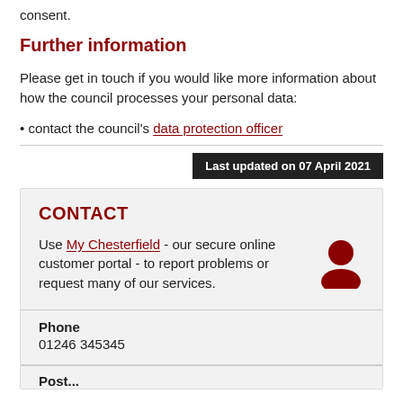consent.
Further information
Please get in touch if you would like more information about how the council processes your personal data:
• contact the council's data protection officer
Last updated on 07 April 2021
CONTACT
Use My Chesterfield - our secure online customer portal - to report problems or request many of our services.
Phone
01246 345345
Post...